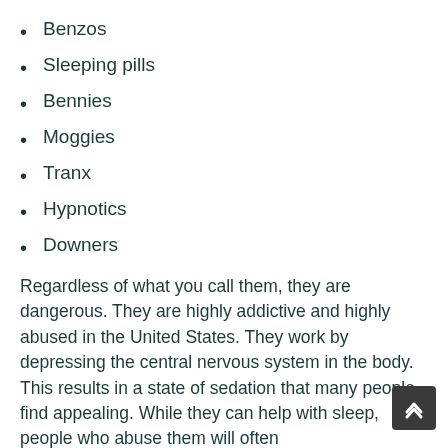Benzos
Sleeping pills
Bennies
Moggies
Tranx
Hypnotics
Downers
Regardless of what you call them, they are dangerous. They are highly addictive and highly abused in the United States. They work by depressing the central nervous system in the body. This results in a state of sedation that many people find appealing. While they can help with sleep, people who abuse them will often